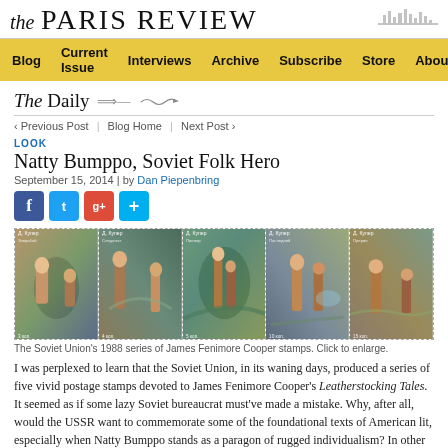the PARIS REVIEW
Blog | Current Issue | Interviews | Archive | Subscribe | Store | About
The Daily
‹ Previous Post  |  Blog Home  |  Next Post ›
LOOK
Natty Bumppo, Soviet Folk Hero
September 15, 2014 | by Dan Piepenbring
[Figure (photo): The Soviet Union's 1988 series of five James Fenimore Cooper postage stamps depicting scenes from Leatherstocking Tales, arranged side by side in a dotted border.]
The Soviet Union's 1988 series of James Fenimore Cooper stamps. Click to enlarge.
I was perplexed to learn that the Soviet Union, in its waning days, produced a series of five vivid postage stamps devoted to James Fenimore Cooper's Leatherstocking Tales. It seemed as if some lazy Soviet bureaucrat must've made a mistake. Why, after all, would the USSR want to commemorate some of the foundational texts of American lit, especially when Natty Bumppo stands as a paragon of rugged individualism? In other